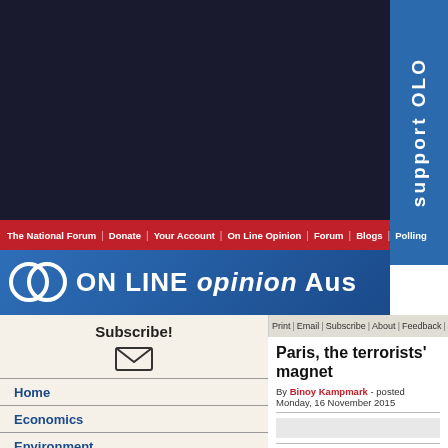[Figure (screenshot): Dark banner advertisement area at top of webpage]
Support OLO (vertical side bar blue)
The National Forum | Donate | Your Account | On Line Opinion | Forum | Blogs | Polling
[Figure (logo): ON LINE opinion Australia logo with two overlapping circles and blue background]
Print | Email | Subscribe | About | Feedback | Legals
Paris, the terrorists' magnet
By Binoy Kampmark - posted Monday, 16 November 2015
Subscribe!
Home
Economics
Environment
Features
Health
International
Leisure
People
Politics
Technology
Twenty-four hour news cycles have made adolescents of us. O... we venture into the world of around the clock news with blindm... the terrorist context, terrorism in Paris is far from exceptional. ... exposure and considerable notoriety.
The scale of the attacks on Friday were intended to terrify. The... injured, 99 are in a critical state. The attacks were initiated aga... hall, by far the most devastating; outside the Stade de France... Carillon and Le Petit Cambodge. There were three attack crow...